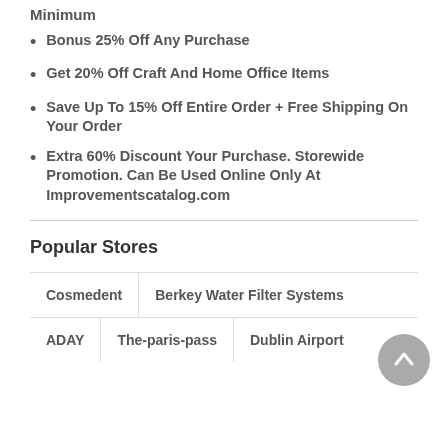Minimum
Bonus 25% Off Any Purchase
Get 20% Off Craft And Home Office Items
Save Up To 15% Off Entire Order + Free Shipping On Your Order
Extra 60% Discount Your Purchase. Storewide Promotion. Can Be Used Online Only At Improvementscatalog.com
Popular Stores
Cosmedent   Berkey Water Filter Systems
ADAY   The-paris-pass   Dublin Airport